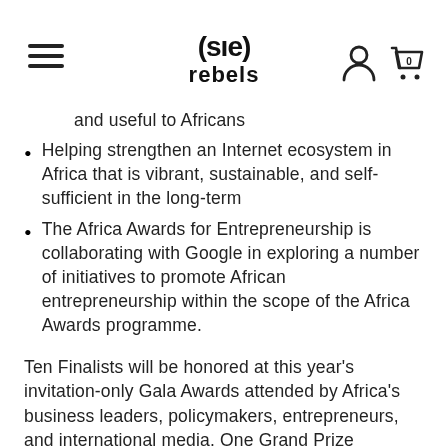Sole Rebels logo, hamburger menu, user icon, cart icon (0)
and useful to Africans
Helping strengthen an Internet ecosystem in Africa that is vibrant, sustainable, and self-sufficient in the long-term
The Africa Awards for Entrepreneurship is collaborating with Google in exploring a number of initiatives to promote African entrepreneurship within the scope of the Africa Awards programme.
Ten Finalists will be honored at this year's invitation-only Gala Awards attended by Africa's business leaders, policymakers, entrepreneurs, and international media. One Grand Prize